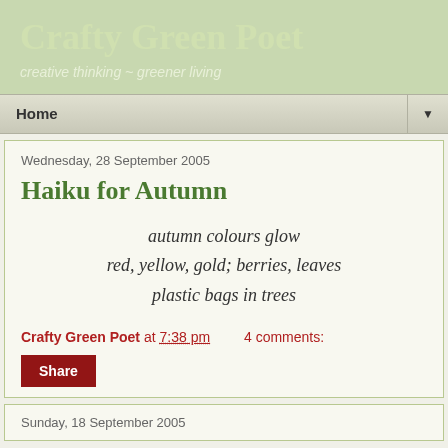Crafty Green Poet
creative thinking ~ greener living
Home
Wednesday, 28 September 2005
Haiku for Autumn
autumn colours glow
red, yellow, gold; berries, leaves
plastic bags in trees
Crafty Green Poet at 7:38 pm    4 comments:
Share
Sunday, 18 September 2005